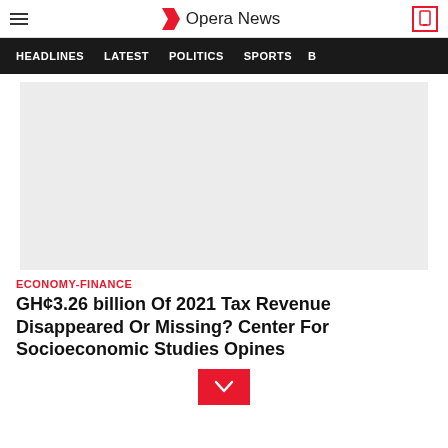Opera News
HEADLINES   LATEST   POLITICS   SPORTS   B
[Figure (other): Gray advertisement placeholder image area]
ECONOMY-FINANCE
GH¢3.26 billion Of 2021 Tax Revenue Disappeared Or Missing? Center For Socioeconomic Studies Opines